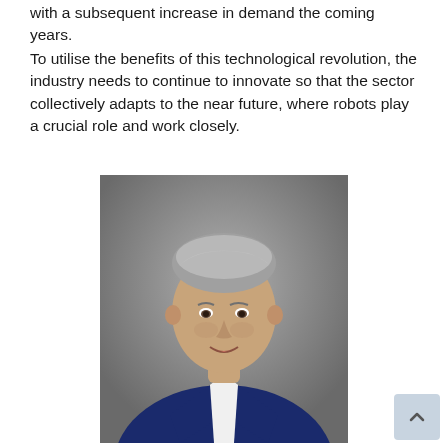with a subsequent increase in demand the coming years.
To utilise the benefits of this technological revolution, the industry needs to continue to innovate so that the sector collectively adapts to the near future, where robots play a crucial role and work closely.
[Figure (photo): Professional headshot of a middle-aged man with gray hair wearing a navy blue suit and white dress shirt, smiling against a gray background.]